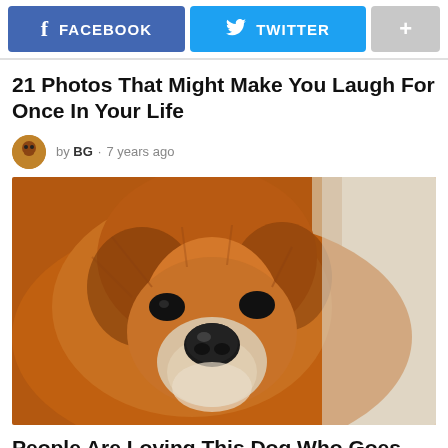[Figure (other): Social sharing buttons: Facebook (blue), Twitter (cyan), plus (+) grey button]
21 Photos That Might Make You Laugh For Once In Your Life
by BG · 7 years ago
[Figure (photo): Close-up photo of a fluffy brown/orange Chow Chow dog looking upward, with a blurred white background]
People Are Loving This Dog Who Goes Woof Woof